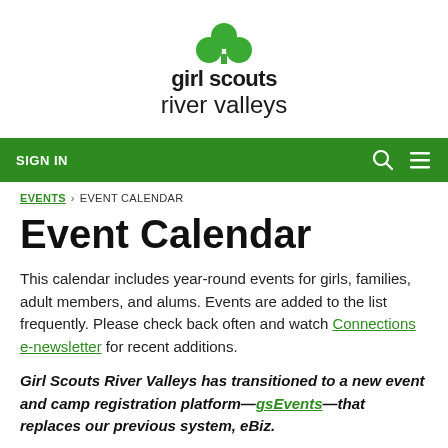[Figure (logo): Girl Scouts River Valleys logo with green trefoil icon above text 'girl scouts river valleys']
SIGN IN
EVENTS > EVENT CALENDAR
Event Calendar
This calendar includes year-round events for girls, families, adult members, and alums. Events are added to the list frequently. Please check back often and watch Connections e-newsletter for recent additions.
Girl Scouts River Valleys has transitioned to a new event and camp registration platform—gsEvents—that replaces our previous system, eBiz.